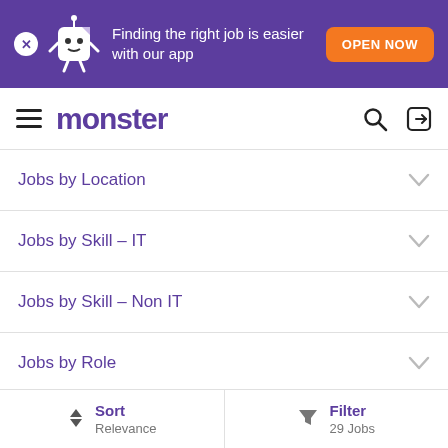[Figure (screenshot): Purple banner with Monster mascot (white character), text 'Finding the right job is easier with our app', and orange 'OPEN NOW' button]
monster
Jobs by Location
Jobs by Skill – IT
Jobs by Skill – Non IT
Jobs by Role
International Jobs
Sort Relevance | Filter 29 Jobs